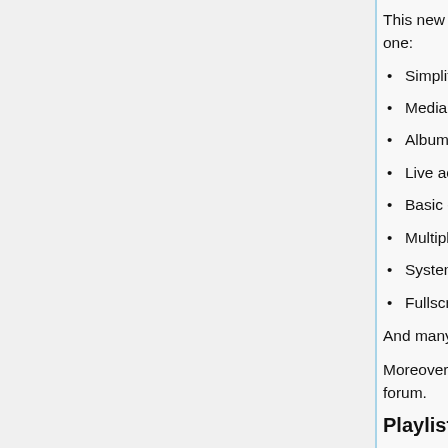This new interface module has a few improvements on the old one:
Simplified settings and dialogs
Media library integration
Album art displaying and metadata editing
Live activation of Video and audio filters
Basic encoding profiles
Multiple start modes (classic, enhanced and minimalist)
System tray icon and minimizing
Fullscreen controller
And many other improvements and bug-fixes.
Moreover, some global hotkeys plugin can be found on the forum.
Playlist